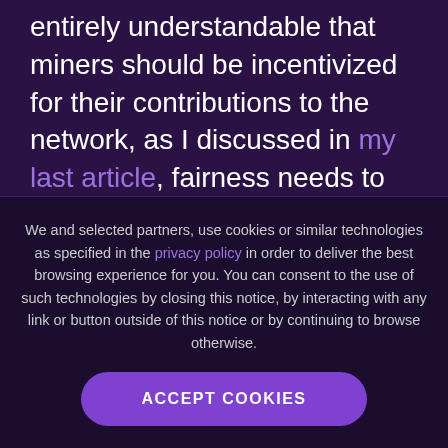entirely understandable that miners should be incentivized for their contributions to the network, as I discussed in my last article, fairness needs to be an issue to be considered as well.
As PIVX is a proof-of-stake currency and doesn't have miners, the development team
We and selected partners, use cookies or similar technologies as specified in the privacy policy in order to deliver the best browsing experience for you. You can consent to the use of such technologies by closing this notice, by interacting with any link or button outside of this notice or by continuing to browse otherwise.
ACCEPT COOKIES